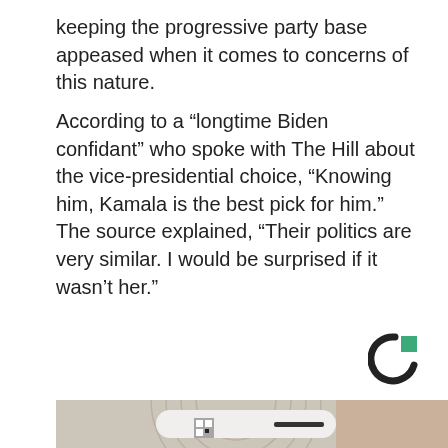keeping the progressive party base appeased when it comes to concerns of this nature.
According to a “longtime Biden confidant” who spoke with The Hill about the vice-presidential choice, “Knowing him, Kamala is the best pick for him.” The source explained, “Their politics are very similar. I would be surprised if it wasn’t her.”
[Figure (logo): Circular arrow logo with teal/green square accent — stylized 'C' shape in dark gray with green square on upper right]
[Figure (photo): Close-up photo of a white smart glasses or wearable device with a QR code sticker, held by a human hand, against a textured light background with concentric circular patterns]